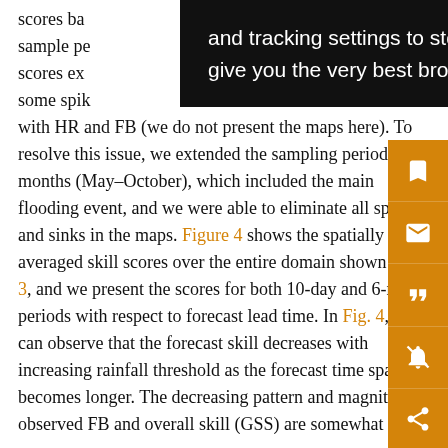scores based on a short sample period produced averaged scores experiencing some spikes, particularly with HR and FB (we do not present the maps here). To resolve this issue, we extended the sampling period to several months (May–October), which included the main flooding event, and we were able to eliminate all spikes and sinks in the maps. Figure 4 shows the spatially averaged skill scores over the entire domain shown in Fig. 3, and we present the scores for both 10-day and 6-month periods with respect to forecast lead time. In Fig. 4, we can observe that the forecast skill decreases with increasing rainfall threshold as the forecast time span becomes longer. The decreasing pattern and magnitude of observed FB and overall skill (GSS) are somewhat